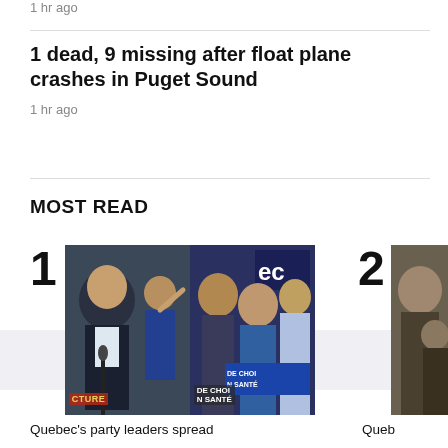1 hr ago
1 dead, 9 missing after float plane crashes in Puget Sound
1 hr ago
MOST READ
[Figure (photo): Collage photo of Quebec party leaders campaigning, numbered 1 in Most Read section]
[Figure (photo): Partial photo of a person, numbered 2 in Most Read section]
Quebec's party leaders spread
Queb